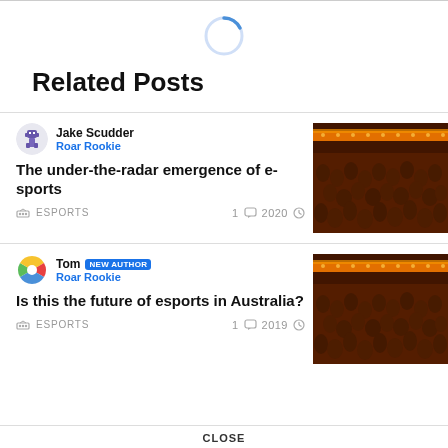[Figure (other): Loading spinner circle, partially blue arc on top]
Related Posts
Jake Scudder
Roar Rookie
The under-the-radar emergence of e-sports
ESPORTS  1  2020
[Figure (photo): Crowd of people at an esports event with orange lighting overhead]
Tom  NEW AUTHOR
Roar Rookie
Is this the future of esports in Australia?
ESPORTS  1  2019
[Figure (photo): Crowd of people at an esports event with orange lighting overhead]
CLOSE